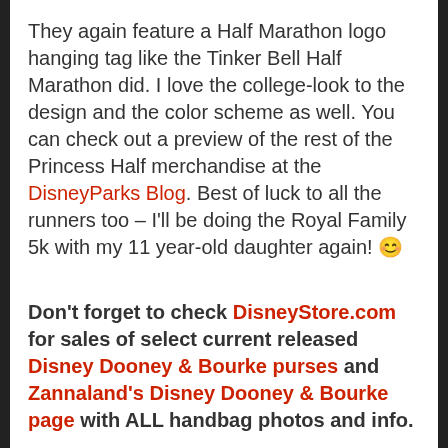They again feature a Half Marathon logo hanging tag like the Tinker Bell Half Marathon did. I love the college-look to the design and the color scheme as well. You can check out a preview of the rest of the Princess Half merchandise at the DisneyParks Blog. Best of luck to all the runners too – I'll be doing the Royal Family 5k with my 11 year-old daughter again! 😬
Don't forget to check DisneyStore.com for sales of select current released Disney Dooney & Bourke purses and Zannaland's Disney Dooney & Bourke page with ALL handbag photos and info.